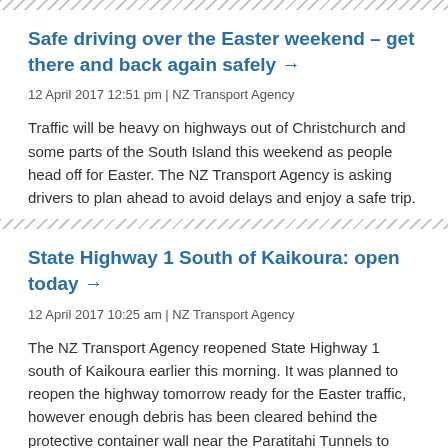Safe driving over the Easter weekend – get there and back again safely →
12 April 2017 12:51 pm | NZ Transport Agency
Traffic will be heavy on highways out of Christchurch and some parts of the South Island this weekend as people head off for Easter. The NZ Transport Agency is asking drivers to plan ahead to avoid delays and enjoy a safe trip.
State Highway 1 South of Kaikoura: open today →
12 April 2017 10:25 am | NZ Transport Agency
The NZ Transport Agency reopened State Highway 1 south of Kaikoura earlier this morning. It was planned to reopen the highway tomorrow ready for the Easter traffic, however enough debris has been cleared behind the protective container wall near the Paratitahi Tunnels to open a day